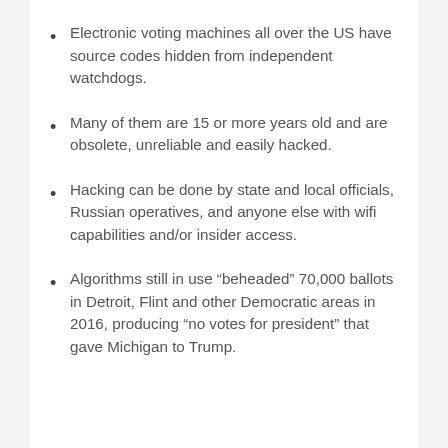Electronic voting machines all over the US have source codes hidden from independent watchdogs.
Many of them are 15 or more years old and are obsolete, unreliable and easily hacked.
Hacking can be done by state and local officials, Russian operatives, and anyone else with wifi capabilities and/or insider access.
Algorithms still in use “beheaded” 70,000 ballots in Detroit, Flint and other Democratic areas in 2016, producing “no votes for president” that gave Michigan to Trump.